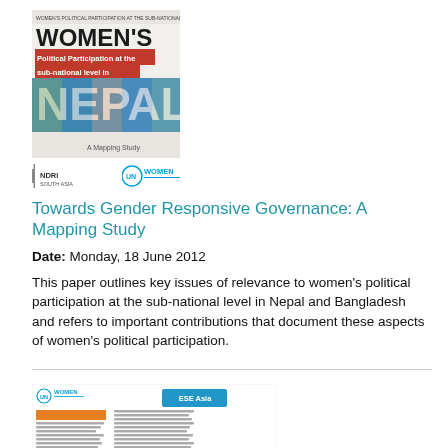[Figure (illustration): Book cover for 'Women's Political Participation at the sub-national level in Nepal' - A Mapping Study, with red and blue design elements]
[Figure (logo): NDRI South Asia logo and UN Women logo displayed side by side]
Towards Gender Responsive Governance: A Mapping Study
Date: Monday, 18 June 2012
This paper outlines key issues of relevance to women's political participation at the sub-national level in Nepal and Bangladesh and refers to important contributions that document these aspects of women's political participation.
[Figure (illustration): Document brief cover for UN Women ESE Asia Programme Country Briefs with orange and blue design elements, two-column text layout]
East and Southeast Asia Programme Country Briefs: China